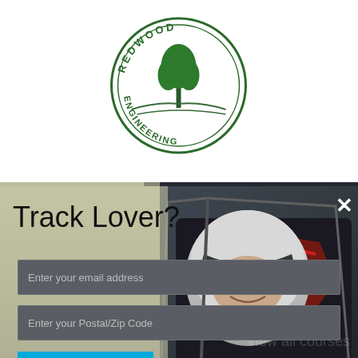[Figure (logo): Redwood Engineering circular logo with tree illustration and text around the border]
[Figure (photo): Photo of a woman in a racing helmet and suit sitting in a race car cockpit, smiling. Background shows car interior with red accents.]
Track Lover?
Let us feed your passion with a monthly list of nearby events. No spam.
Enter your email address
Enter your Postal/Zip Code
I'M A FAN, LET ME IN